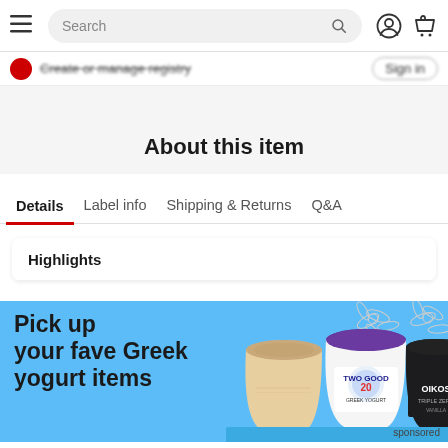Search
Create or manage registry   Sign in
About this item
Details   Label info   Shipping & Returns   Q&A
Highlights
[Figure (photo): Advertisement banner for Greek yogurt items showing Three yogurt cups (Chobani, Two Good, Oikos Triple Zero) on a blue background with text 'Pick up your fave Greek yogurt items' and 'sponsored' label]
sponsored